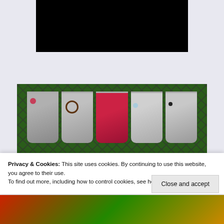[Figure (photo): Black rectangle at top center, representing a redacted or blank image area]
[Figure (photo): Photo of decorative artisan nail polish or shot glasses with colorful designs (floral, swirl, watermelon) displayed in a row against a diamond-lattice green background, with 'Artisan' text overlaid in large lime-green decorative font with purple shadow]
Privacy & Cookies: This site uses cookies. By continuing to use this website, you agree to their use.
To find out more, including how to control cookies, see here: Cookie Policy
Close and accept
[Figure (photo): Partial view of another colorful artisan product image at the bottom of the page]